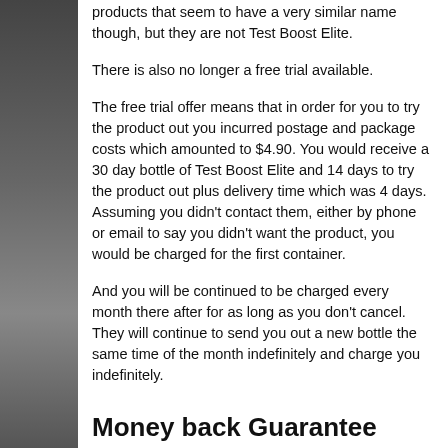products that seem to have a very similar name though, but they are not Test Boost Elite.
There is also no longer a free trial available.
The free trial offer means that in order for you to try the product out you incurred postage and package costs which amounted to $4.90. You would receive a 30 day bottle of Test Boost Elite and 14 days to try the product out plus delivery time which was 4 days. Assuming you didn't contact them, either by phone or email to say you didn't want the product, you would be charged for the first container.
And you will be continued to be charged every month there after for as long as you don't cancel. They will continue to send you out a new bottle the same time of the month indefinitely and charge you indefinitely.
Money back Guarantee